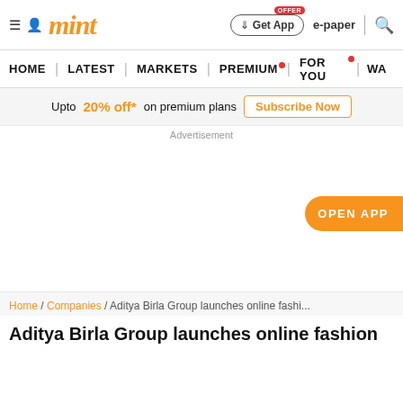mint | Get App | e-paper | search
HOME | LATEST | MARKETS | PREMIUM | FOR YOU | WA
Upto 20% off* on premium plans  Subscribe Now
Advertisement
OPEN APP
Home / Companies / Aditya Birla Group launches online fashi...
Aditya Birla Group launches online fashion